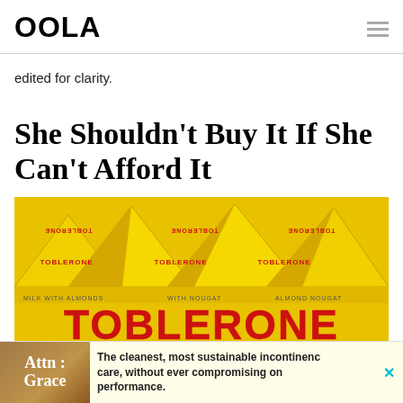OOLA
edited for clarity.
She Shouldn't Buy It If She Can't Afford It
[Figure (photo): Toblerone chocolate bars in yellow triangular packaging showing the TOBLERONE brand name in large red letters at the bottom, arranged with multiple triangular peaks visible from above]
[Figure (other): Advertisement banner: Attn: Grace - The cleanest, most sustainable incontinence care, without ever compromising on performance.]